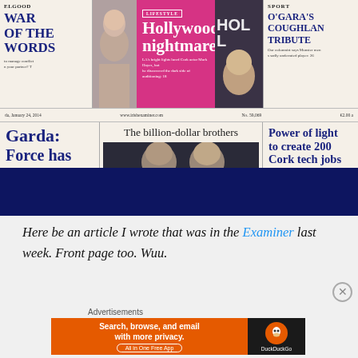[Figure (screenshot): Newspaper front page screenshot showing Cork Examiner with headlines: 'Hollywood nightmare - LA's bright lights lured Cork actor Mark Hayes, but he discovered the dark side of auditioning', 'Garda: Force has', 'The billion-dollar brothers', 'Power of light to create 200 Cork tech jobs', 'O'Gara's Coughlan Tribute'. Dark blue band covering lower portion of image.]
Here be an article I wrote that was in the Examiner last week. Front page too. Wuu.
Advertisements
[Figure (screenshot): DuckDuckGo advertisement banner: 'Search, browse, and email with more privacy. All in One Free App' on orange background with DuckDuckGo logo on dark background.]